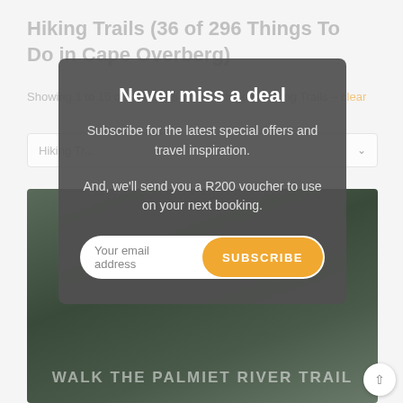Hiking Trails (36 of 296 Things To Do in Cape Overberg)
Showing 1 to 15 of 36 results in the category: Hiking Trails – clear
Hiking Trails (dropdown)
[Figure (photo): Photo of a rocky river trail with greenery, with text overlay 'WALK THE PALMIET RIVER TRAIL']
Never miss a deal
Subscribe for the latest special offers and travel inspiration.
And, we'll send you a R200 voucher to use on your next booking.
[Your email address] [SUBSCRIBE]